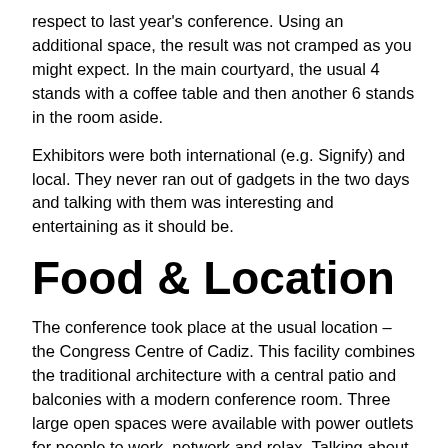respect to last year's conference. Using an additional space, the result was not cramped as you might expect. In the main courtyard, the usual 4 stands with a coffee table and then another 6 stands in the room aside.
Exhibitors were both international (e.g. Signify) and local. They never ran out of gadgets in the two days and talking with them was interesting and entertaining as it should be.
Food & Location
The conference took place at the usual location – the Congress Centre of Cadiz. This facility combines the traditional architecture with a central patio and balconies with a modern conference room. Three large open spaces were available with power outlets for people to work, network and relax. Talking about network I think that some kudos are really deserved for the wifi connection – it is not trivial to grant access to 650 people, possibly with two or more connected devices. The only problem was at the beginning of the